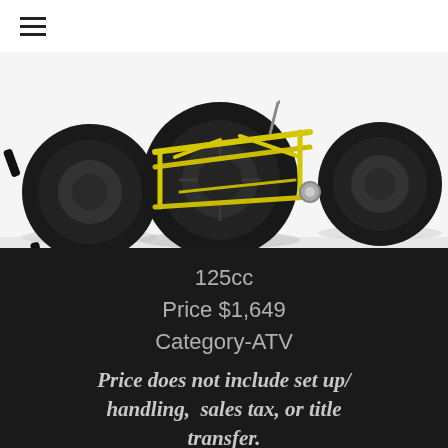≡
[Figure (photo): Close-up photo of an ATV (all-terrain vehicle) with large black knobby tires and a yellow tubular frame/chassis visible, shot against a white background with tire reflections visible below.]
125cc
Price $1,649
Category-ATV
Price does not include set up/ handling,  sales tax, or title transfer.